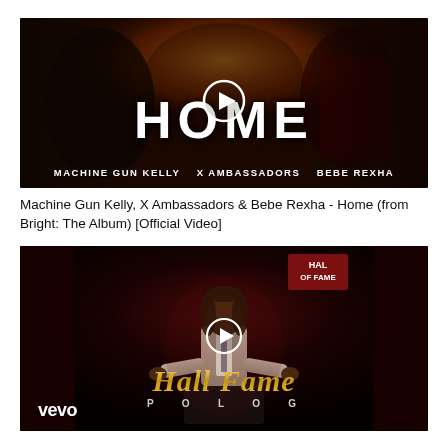[Figure (screenshot): Music video thumbnail for 'Home' by Machine Gun Kelly, X Ambassadors & Bebe Rexha. Dark background with artists, large text 'HOME' in center, play button overlay.]
Machine Gun Kelly, X Ambassadors & Bebe Rexha - Home (from Bright: The Album) [Official Video]
[Figure (screenshot): Music video thumbnail for 'Hall of Fame' by Polo G. Dark red background with man at podium, gold script 'Hall Fame' text, 'POLO G' in caps, Vevo logo, play button overlay.]